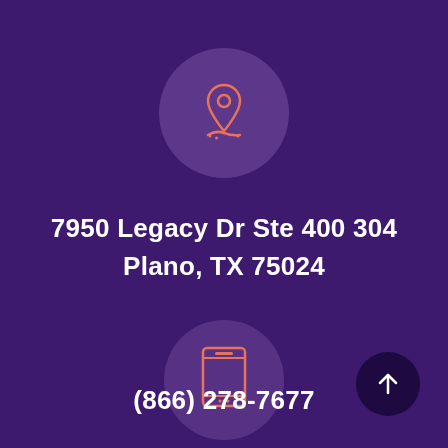[Figure (illustration): Orange outline location pin / map marker icon on a semi-transparent purple circle background]
7950 Legacy Dr Ste 400 304
Plano, TX 75024
[Figure (illustration): Orange outline tablet / smartphone icon on a semi-transparent purple circle background]
(866) 278-7677
[Figure (illustration): Upward arrow icon on dark purple circle, bottom-right corner]